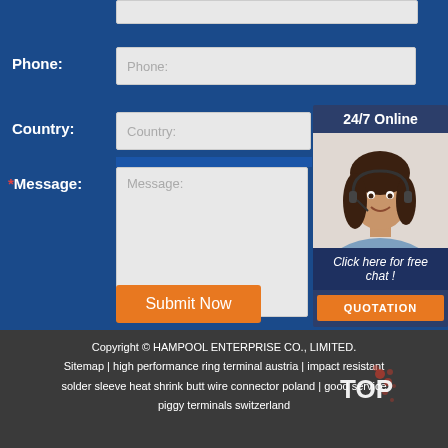Phone:
Phone:
Country:
Country:
24/7 Online
[Figure (photo): Customer service representative woman with headset smiling]
Click here for free chat !
QUOTATION
*Message:
Message:
Submit Now
Copyright © HAMPOOL ENTERPRISE CO., LIMITED. Sitemap | high performance ring terminal austria | impact resistant solder sleeve heat shrink butt wire connector poland | good service piggy terminals switzerland